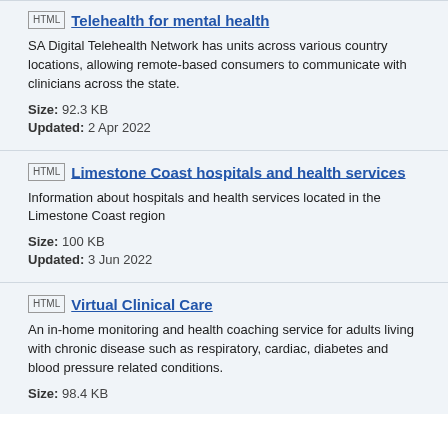HTML | Telehealth for mental health
SA Digital Telehealth Network has units across various country locations, allowing remote-based consumers to communicate with clinicians across the state.
Size: 92.3 KB
Updated: 2 Apr 2022
HTML | Limestone Coast hospitals and health services
Information about hospitals and health services located in the Limestone Coast region
Size: 100 KB
Updated: 3 Jun 2022
HTML | Virtual Clinical Care
An in-home monitoring and health coaching service for adults living with chronic disease such as respiratory, cardiac, diabetes and blood pressure related conditions.
Size: 98.4 KB